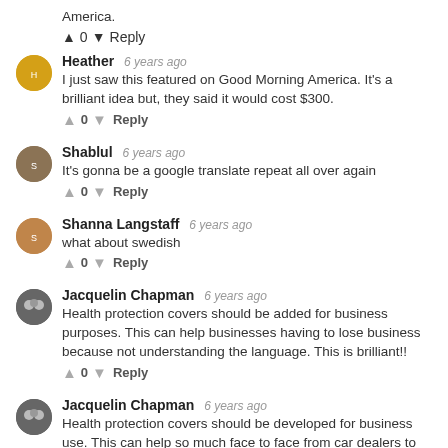America.
↑ 0 ↓ Reply
Heather 6 years ago
I just saw this featured on Good Morning America. It's a brilliant idea but, they said it would cost $300.
↑ 0 ↓ Reply
Shablul 6 years ago
It's gonna be a google translate repeat all over again
↑ 0 ↓ Reply
Shanna Langstaff 6 years ago
what about swedish
↑ 0 ↓ Reply
Jacquelin Chapman 6 years ago
Health protection covers should be added for business purposes. This can help businesses having to lose business because not understanding the language. This is brilliant!!
↑ 0 ↓ Reply
Jacquelin Chapman 6 years ago
Health protection covers should be developed for business use. This can help so much face to face from car dealers to